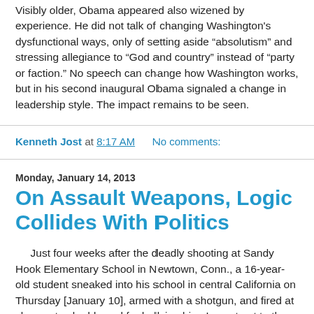Visibly older, Obama appeared also wizened by experience. He did not talk of changing Washington's dysfunctional ways, only of setting aside “absolutism” and stressing allegiance to “God and country” instead of “party or faction.” No speech can change how Washington works, but in his second inaugural Obama signaled a change in leadership style. The impact remains to be seen.
Kenneth Jost at 8:17 AM   No comments:
Monday, January 14, 2013
On Assault Weapons, Logic Collides With Politics
Just four weeks after the deadly shooting at Sandy Hook Elementary School in Newtown, Conn., a 16-year-old student sneaked into his school in central California on Thursday [January 10], armed with a shotgun, and fired at classmates he blamed for bullying him. In contrast to the 26 students killed in Newtown, however, the casualty count at